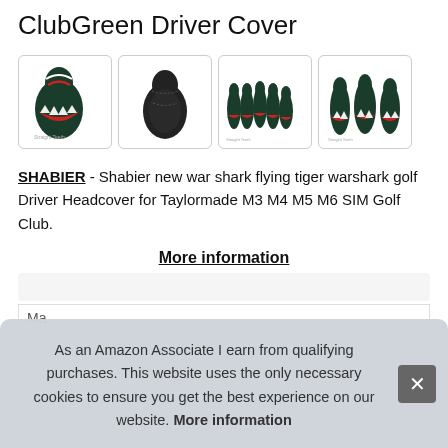ClubGreen Driver Cover
[Figure (photo): Four product images of a SHABIER war shark flying tiger warshark golf driver headcover shown from different angles and as a set. The first image shows a single headcover with shark teeth design in dark green. The second shows the back of the headcover. The third shows a set of multiple headcovers in a row. The fourth shows three headcovers together.]
SHABIER - Shabier new war shark flying tiger warshark golf Driver Headcover for Taylormade M3 M4 M5 M6 SIM Golf Club.
More information
As an Amazon Associate I earn from qualifying purchases. This website uses the only necessary cookies to ensure you get the best experience on our website. More information